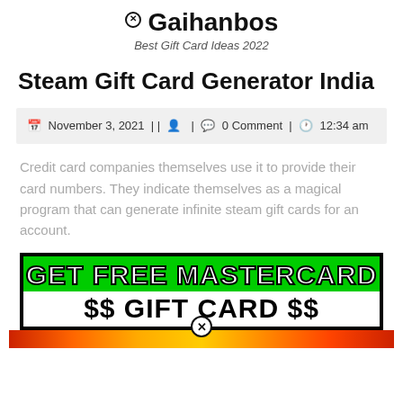Gaihanbos — Best Gift Card Ideas 2022
Steam Gift Card Generator India
November 3, 2021 || 🧑 | 💬 0 Comment | 🕐 12:34 am
Credit card companies themselves use it to provide their card numbers. They indicate themselves as a magical program that can generate infinite steam gift cards for an account.
[Figure (infographic): Promotional banner with green background reading 'GET FREE MASTERCARD $$ GIFT CARD $$' with black border, followed by an orange/red gradient bar at bottom and a close button circle.]